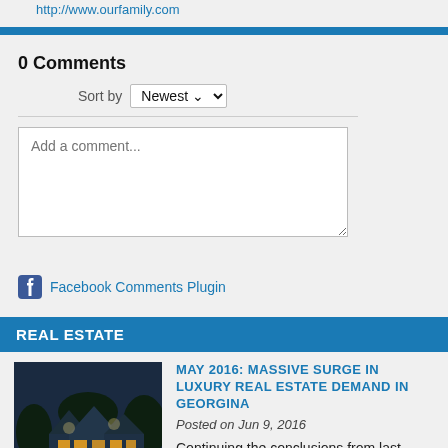http://www.ourfamily.com
0 Comments
Sort by Newest
Add a comment...
Facebook Comments Plugin
REAL ESTATE
[Figure (photo): Luxury house with illuminated exterior at night, pool visible in foreground, surrounded by trees]
MAY 2016: MASSIVE SURGE IN LUXURY REAL ESTATE DEMAND IN GEORGINA
Posted on Jun 9, 2016
Continuing the conclusions from last month's report, higher-end and luxurious properties have played a consistent role in Georgina's Spring Market.